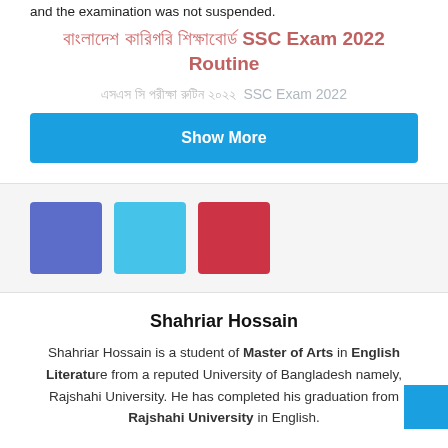and the examination was not suspended.
বাংলাদেশ কারিগরি শিক্ষাবোর্ড SSC Exam 2022 Routine
এসএস সি পরীক্ষা রুটিন ২০২২ SSC Exam 2022
Show More
[Figure (illustration): Three social media icon squares: purple (Facebook), cyan (Twitter), red (Google+)]
Shahriar Hossain
Shahriar Hossain is a student of Master of Arts in English Literature from a reputed University of Bangladesh namely, Rajshahi University. He has completed his graduation from Rajshahi University in English.